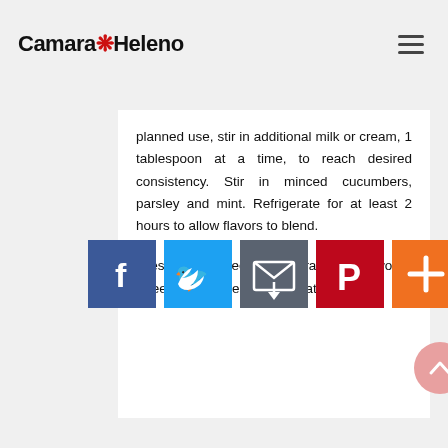Camara Heleno
planned use, stir in additional milk or cream, 1 tablespoon at a time, to reach desired consistency. Stir in minced cucumbers, parsley and mint. Refrigerate for at least 2 hours to allow flavors to blend.

Dressing will keep, refrigerated, for two to three days. Makes approximately 2 cups.
[Figure (other): Social sharing buttons: Facebook (blue), Twitter (light blue), Share/envelope (dark gray), Pinterest (red), More/plus (orange)]